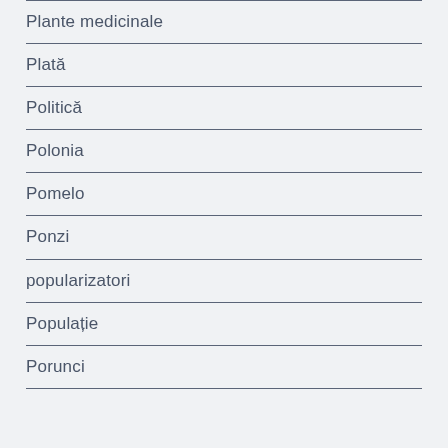Plante medicinale
Plată
Politică
Polonia
Pomelo
Ponzi
popularizatori
Populație
Porunci